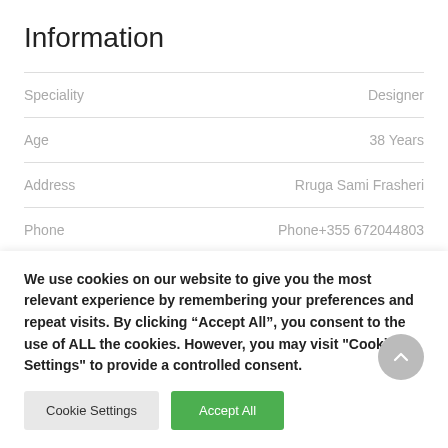Information
| Field | Value |
| --- | --- |
| Speciality | Designer |
| Age | 38 Years |
| Address | Rruga Sami Frasheri |
| Phone | Phone+355 672044803 |
| Email | EmailE.rama@gmail.com |
We use cookies on our website to give you the most relevant experience by remembering your preferences and repeat visits. By clicking “Accept All”, you consent to the use of ALL the cookies. However, you may visit "Cookie Settings" to provide a controlled consent.
Cookie Settings | Accept All